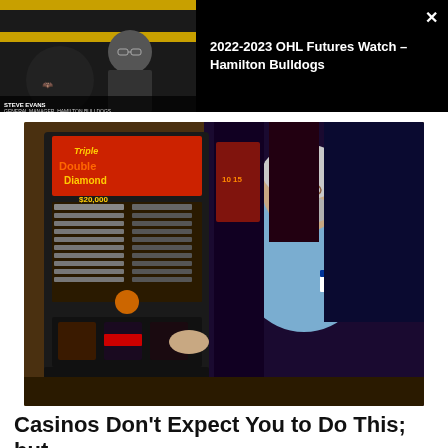[Figure (screenshot): Video thumbnail overlay showing a man (Steve Evans, General Manager Hamilton Bulldogs) in front of Hamilton Bulldogs branding with a circular annotation drawn over his head. Dark background. Title reads '2022-2023 OHL Futures Watch – Hamilton Bulldogs' with an X close button.]
2022-2023 OHL Futures Watch – Hamilton Bulldogs
[Figure (photo): An older white-haired man with glasses and a grey beard wearing a light blue button-up shirt with a name tag, standing next to a Triple Double Diamond slot machine in a casino.]
Casinos Don't Expect You to Do This; but